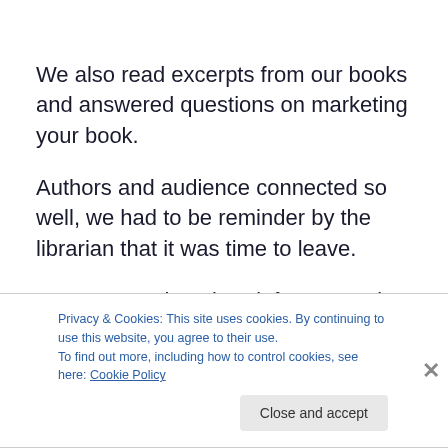We also read excerpts from our books and answered questions on marketing your book.
Authors and audience connected so well, we had to be reminder by the librarian that it was time to leave.
In August I take a break from actual gigs. So will be spending more time researching and writing that third
Privacy & Cookies: This site uses cookies. By continuing to use this website, you agree to their use.
To find out more, including how to control cookies, see here: Cookie Policy